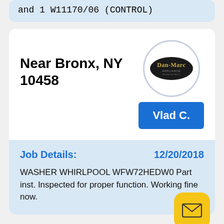and 1 W11170/06 (CONTROL)
Near Bronx, NY 10458
[Figure (logo): Dan-Marc Appliance logo: black oval with gold text 'Dan-Marc' and smaller text 'APPLIANCE' inside a light gray circle]
Vlad C.
Job Details:
12/20/2018
WASHER WHIRLPOOL WFW72HEDW0 Part inst. Inspected for proper function. Working fine now.